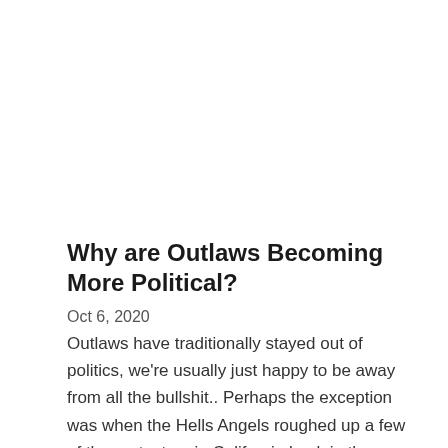Why are Outlaws Becoming More Political?
Oct 6, 2020
Outlaws have traditionally stayed out of politics, we're usually just happy to be away from all the bullshit.. Perhaps the exception was when the Hells Angels roughed up a few of the protestors in California back in the Vietnam war days. They were protesting against